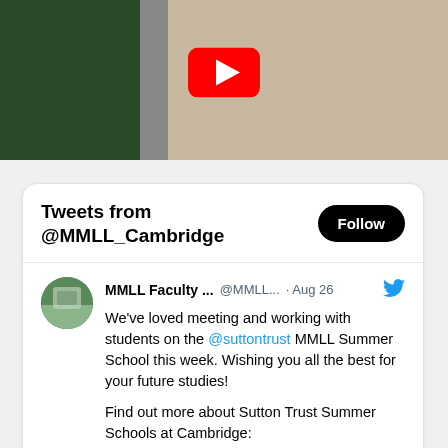[Figure (screenshot): YouTube video thumbnail showing two women in a room, with YouTube play button icon in the center. Background shows foliage on the left and curtains/bookshelf on the right.]
Tweets from @MMLL_Cambridge
Follow
MMLL Faculty ...  @MMLL...  · Aug 26
We've loved meeting and working with students on the @suttontrust MMLL Summer School this week. Wishing you all the best for your future studies!

Find out more about Sutton Trust Summer Schools at Cambridge:
undergraduate.study.cam.ac.uk/events/summer-...